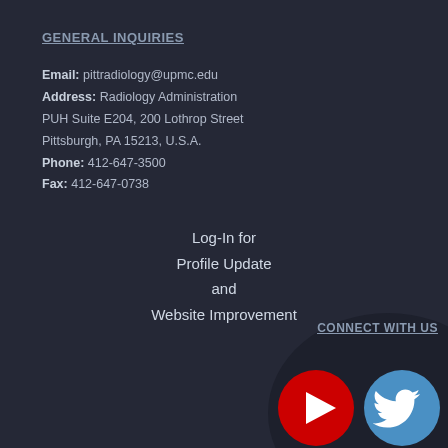GENERAL INQUIRIES
Email: pittradiology@upmc.edu
Address: Radiology Administration
PUH Suite E204, 200 Lothrop Street
Pittsburgh, PA 15213, U.S.A.
Phone: 412-647-3500
Fax: 412-647-0738
Log-In for
Profile Update
and
Website Improvement
CONNECT WITH US
[Figure (logo): YouTube logo icon - red circle with white play button triangle]
[Figure (logo): Twitter/X bird logo icon - blue circle with white bird]